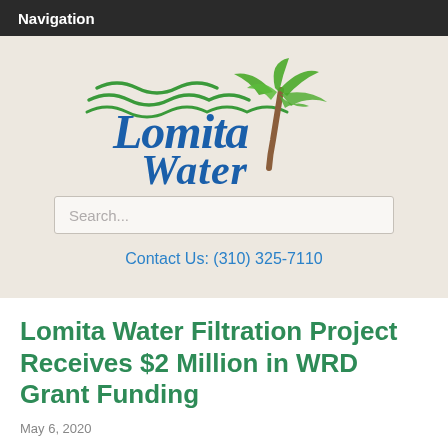Navigation
[Figure (logo): Lomita Water logo with blue stylized text 'Lomita Water', green wave lines, and a palm tree illustration]
Search...
Contact Us: (310) 325-7110
Lomita Water Filtration Project Receives $2 Million in WRD Grant Funding
May 6, 2020